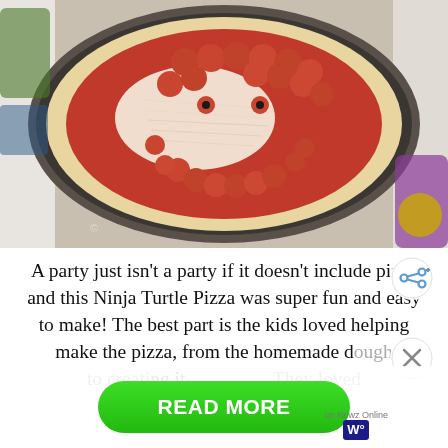[Figure (photo): A Ninja Turtle face pizza made with pepperoni arranged on a round pan to form eyes, nose, and mouth, with shredded cheese and tomato sauce. Placed on a table with colorful Ninja Turtle themed items visible in the background.]
A party just isn't a party if it doesn't include pizza and this Ninja Turtle Pizza was super fun and easy to make!  The best part is the kids loved helping make the pizza, from the homemade dough to creating it.  They loved creating it and eating it with